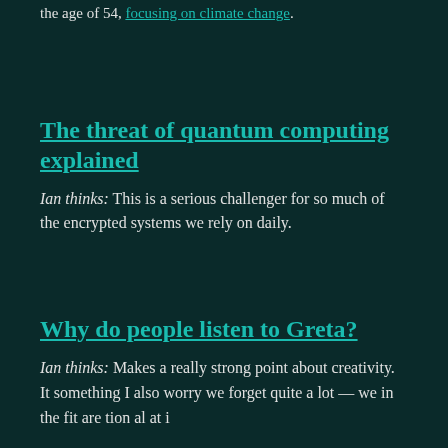the age of 54, focusing on climate change.
The threat of quantum computing explained
Ian thinks: This is a serious challenger for so much of the encrypted systems we rely on daily.
Why do people listen to Greta?
Ian thinks: Makes a really strong point about creativity. It something I also worry we forget quite a lot — we in the fit are tion al at i